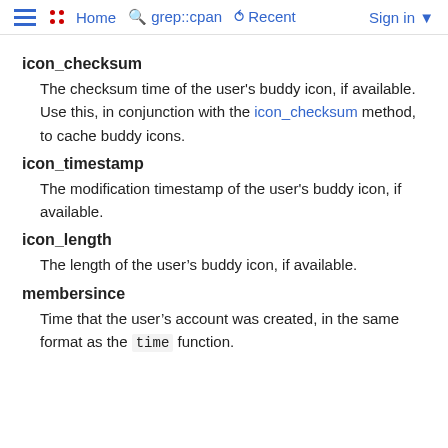≡  •• Home  🔍 grep::cpan  ↺ Recent  Sign in ▾
icon_checksum
The checksum time of the user's buddy icon, if available. Use this, in conjunction with the icon_checksum method, to cache buddy icons.
icon_timestamp
The modification timestamp of the user's buddy icon, if available.
icon_length
The length of the user's buddy icon, if available.
membersince
Time that the user's account was created, in the same format as the time function.